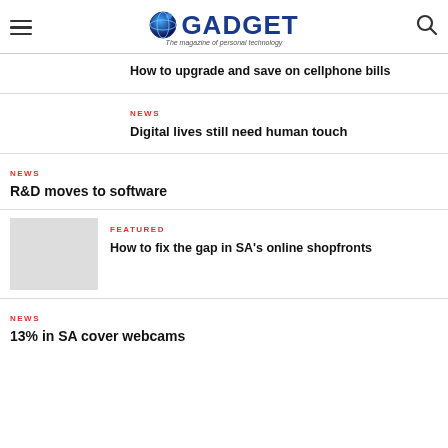GADGET – The magazine of personal technology
How to upgrade and save on cellphone bills
NEWS
Digital lives still need human touch
NEWS
R&D moves to software
FEATURED
How to fix the gap in SA's online shopfronts
NEWS
13% in SA cover webcams